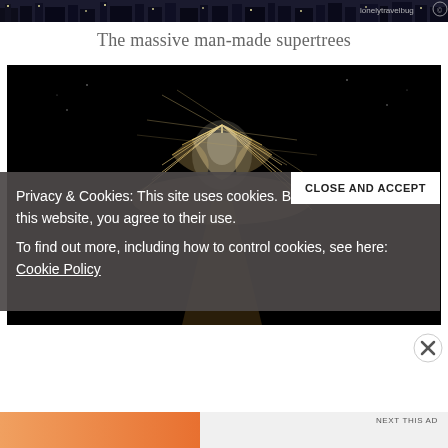[Figure (photo): Top banner photo strip showing a nighttime city skyline with text 'lonelytravelbug' watermark in top right corner]
The massive man-made supertrees
[Figure (photo): Night photograph of a large illuminated supertree structure at Gardens by the Bay, Singapore, with white geometric metal framework against a black sky]
Privacy & Cookies: This site uses cookies. By continuing to use this website, you agree to their use. To find out more, including how to control cookies, see here: Cookie Policy
CLOSE AND ACCEPT